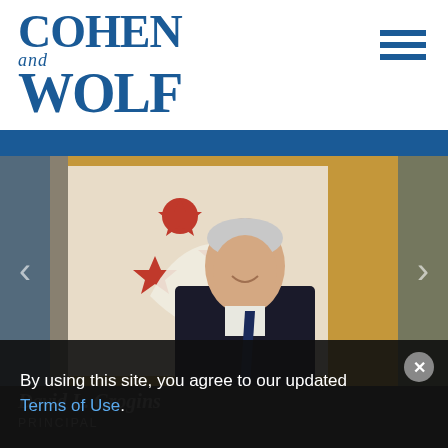[Figure (logo): Cohen and Wolf law firm logo in blue serif font]
[Figure (photo): Professional headshot of David L. Grogins, Principal at Cohen and Wolf, seated in a suit and tie with artwork in background]
By using this site, you agree to our updated Terms of Use.
David L. Grogins
PRINCIPAL